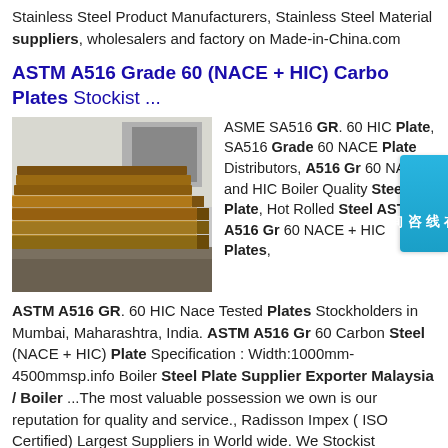Stainless Steel Product Manufacturers, Stainless Steel Material suppliers, wholesalers and factory on Made-in-China.com
ASTM A516 Grade 60 (NACE + HIC) Carbon Steel Plates Stockist ...
[Figure (photo): Stack of carbon steel plates, hot rolled, brownish-orange colored steel sheets stacked outdoors]
ASME SA516 GR. 60 HIC Plate, SA516 Grade 60 NACE Plate Distributors, A516 Gr 60 NACE and HIC Boiler Quality Steel Plate, Hot Rolled Steel ASTM A516 Gr 60 NACE + HIC Plates, ASTM A516 GR. 60 HIC Nace Tested Plates Stockholders in Mumbai, Maharashtra, India. ASTM A516 Gr 60 Carbon Steel (NACE + HIC) Plate Specification : Width:1000mm-4500mmsp.info Boiler Steel Plate Supplier Exporter Malaysia / Boiler ...The most valuable possession we own is our reputation for quality and service., Radisson Impex ( ISO Certified) Largest Suppliers in World wide. We Stockist